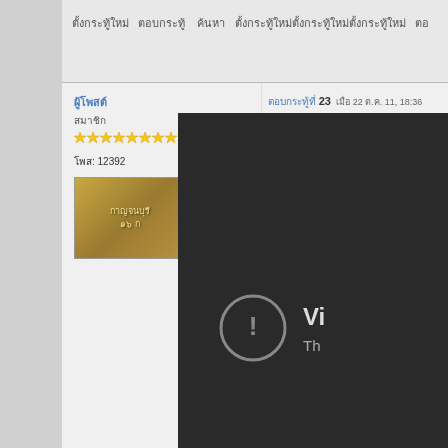[Thai script] ตั้งกระทู้ใหม่ [Thai navigation text]
ผู้โพส [username in Thai]
สมาชิก
โพส: 12392
[Figure (photo): Avatar image showing a Thai signboard with gold text on wooden/tan background]
ตอบกระทู้ที่ 23  เมื่อ 22 ต.ค. 11, 18:36
[Figure (screenshot): Embedded video player showing a dark/black screen with an error icon (exclamation mark in circle) and partial text 'Vi' and 'Th' indicating a video unavailable message]